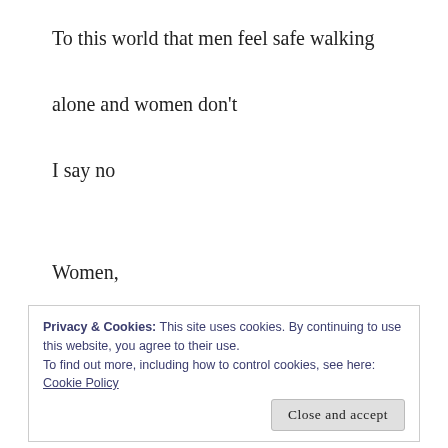To this world that men feel safe walking
alone and women don't
I say no
Women,
We have the right to say no
Privacy & Cookies: This site uses cookies. By continuing to use this website, you agree to their use.
To find out more, including how to control cookies, see here: Cookie Policy
Close and accept